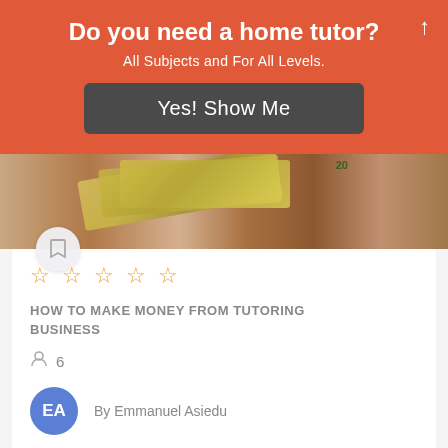Do you need a home tutor?
All Subjects and For All Levels.
Yes! Show Me
[Figure (photo): Woman holding fan of US dollar bills, wearing purple top]
HOW TO MAKE MONEY FROM TUTORING BUSINESS
6
By Emmanuel Asiedu
₵149.99
Add to cart